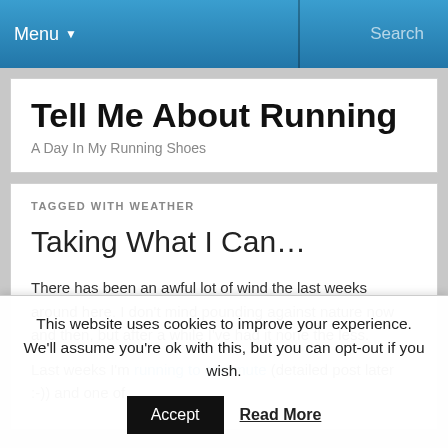Menu  Search
Tell Me About Running
A Day In My Running Shoes
TAGGED WITH WEATHER
Taking What I Can…
There has been an awful lot of wind the last weeks around here. I don't mind pounding against nature now and then, but after a while I've had it none the less.

Last weeks I'm running to commute (detailed post later :-)) and one of
This website uses cookies to improve your experience. We'll assume you're ok with this, but you can opt-out if you wish.
Accept  Read More